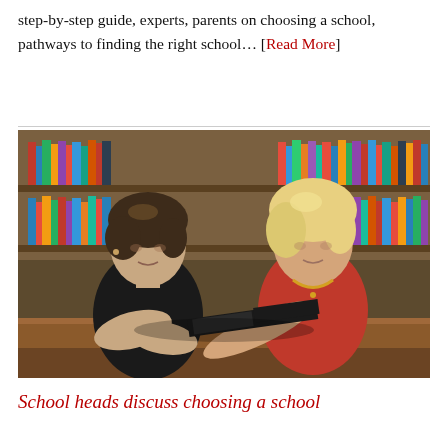step-by-step guide, experts, parents on choosing a school, pathways to finding the right school… [Read More]
[Figure (photo): Two women sitting at a table in a library/school setting, one in black and one in red, discussing over an open folder or binder. Bookshelves with colorful books fill the background.]
School heads discuss choosing a school